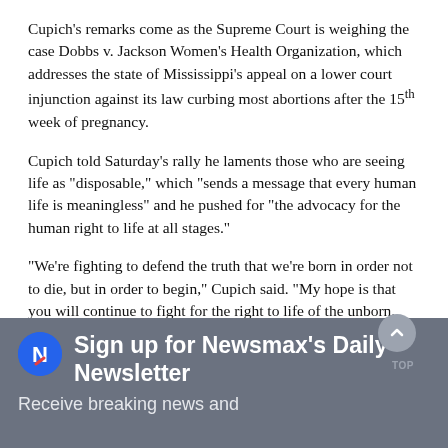Cupich's remarks come as the Supreme Court is weighing the case Dobbs v. Jackson Women's Health Organization, which addresses the state of Mississippi's appeal on a lower court injunction against its law curbing most abortions after the 15th week of pregnancy.
Cupich told Saturday's rally he laments those who are seeing life as "disposable," which "sends a message that every human life is meaningless" and he pushed for "the advocacy for the human right to life at all stages."
"We're fighting to defend the truth that we're born in order not to die, but in order to begin," Cupich said. "My hope is that you will continue to fight for the right to life of the unborn. That's what should unite us all. That's what's so important."
Cupich's remarks were interrupted a number of times, including by protesters advocating for abortion.
Sign up for Newsmax's Daily Newsletter
Receive breaking news and